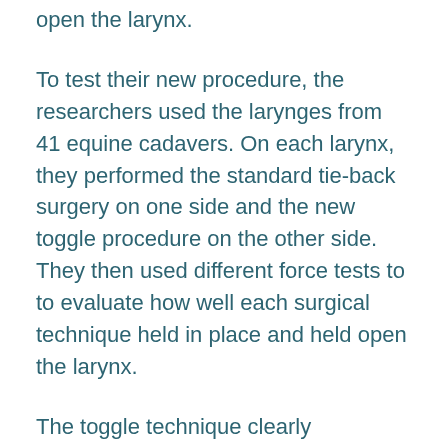open the larynx.
To test their new procedure, the researchers used the larynges from 41 equine cadavers. On each larynx, they performed the standard tie-back surgery on one side and the new toggle procedure on the other side. They then used different force tests to to evaluate how well each surgical technique held in place and held open the larynx.
The toggle technique clearly outperformed the traditional procedure. It took a significantly greater amount of force for the toggle technique to fail, compared to the standard technique. In addition, while most of the standard tie-backs failed due to sutures pulling